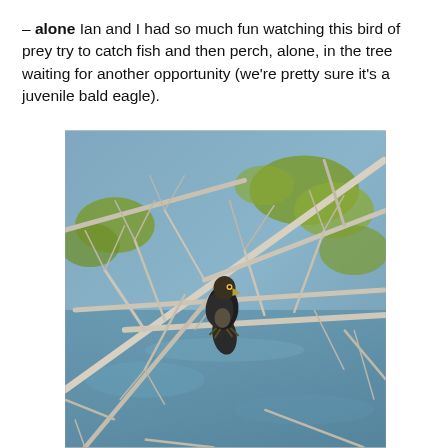– alone  Ian and I had so much fun watching this bird of prey try to catch fish and then perch, alone, in the tree waiting for another opportunity (we're pretty sure it's a juvenile bald eagle).
[Figure (photo): A juvenile bald eagle perched on a bare tree branch, surrounded by white bare branches and some green foliage, with a blue-grey water or sky background.]